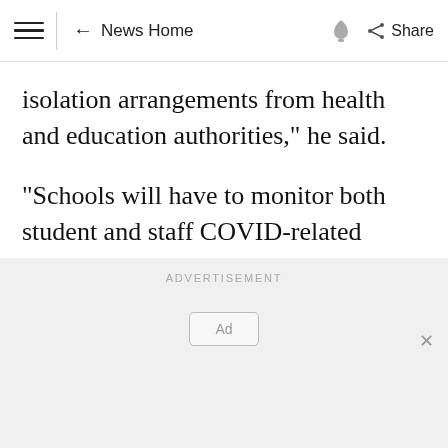≡  ← News Home  🔔  Share
isolation arrangements from health and education authorities," he said.
"Schools will have to monitor both student and staff COVID-related absences and adjust accordingly.
ADVERTISEMENT
[Figure (other): Advertisement placeholder box with 'Ad' label and close button]